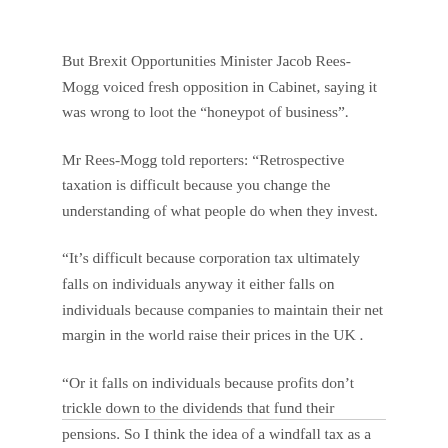But Brexit Opportunities Minister Jacob Rees-Mogg voiced fresh opposition in Cabinet, saying it was wrong to loot the “honeypot of business”.
Mr Rees-Mogg told reporters: “Retrospective taxation is difficult because you change the understanding of what people do when they invest.
“It’s difficult because corporation tax ultimately falls on individuals anyway it either falls on individuals because companies to maintain their net margin in the world raise their prices in the UK .
“Or it falls on individuals because profits don’t trickle down to the dividends that fund their pensions. So I think the idea of a windfall tax as a panacea to the inflation problem is wrong.”